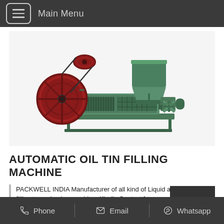Main Menu
[Figure (illustration): Green automatic oil tin filling machine / oil press machine with a large red flywheel on the left, horizontal pressing barrel in the center, green hopper/funnel on top right, and a handwheel on the right side. The machine sits on a base frame.]
AUTOMATIC OIL TIN FILLING MACHINE
PACKWELL INDIA Manufacturer of all kind of Liquid and powder filling to packaging machine. Kindly Contact fo
Phone   Email   Whatsapp